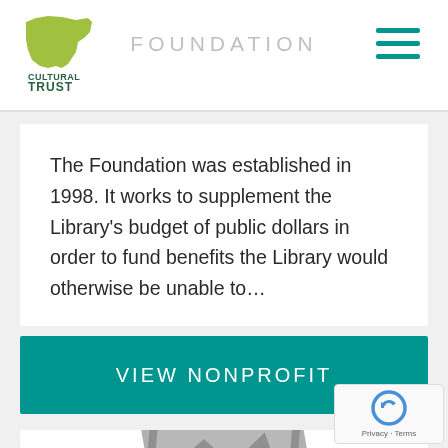FOUNDATION
[Figure (logo): Oregon Cultural Trust logo — green/yellow-green state shape with text CULTURAL TRUST below]
The Foundation was established in 1998. It works to supplement the Library's budget of public dollars in order to fund benefits the Library would otherwise be unable to...
VIEW NONPROFIT
[Figure (photo): Placeholder image icon — grey stacked photo cards with mountain/sun graphic]
[Figure (other): reCAPTCHA badge — Privacy · Terms]